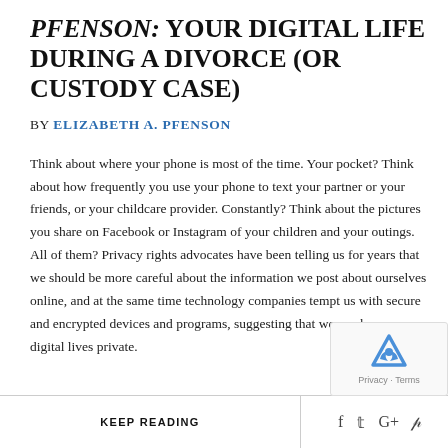PFENSON: YOUR DIGITAL LIFE DURING A DIVORCE (OR CUSTODY CASE)
BY ELIZABETH A. PFENSON
Think about where your phone is most of the time. Your pocket? Think about how frequently you use your phone to text your partner or your friends, or your childcare provider. Constantly? Think about the pictures you share on Facebook or Instagram of your children and your outings. All of them? Privacy rights advocates have been telling us for years that we should be more careful about the information we post about ourselves online, and at the same time technology companies tempt us with secure and encrypted devices and programs, suggesting that we can keep our digital lives private.
KEEP READING  f  t  G+  p